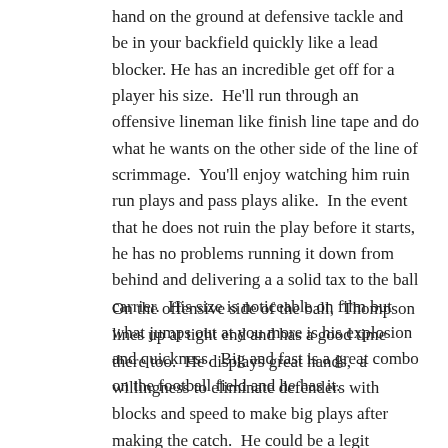hand on the ground at defensive tackle and be in your backfield quickly like a lead blocker. He has an incredible get off for a player his size.  He'll run through an offensive lineman like finish line tape and do what he wants on the other side of the line of scrimmage.  You'll enjoy watching him ruin run plays and pass plays alike.  In the event that he does not ruin the play before it starts,  he has no problems running it down from behind and delivering a a solid tax to the ball carrier.  His size is noticeable on film but what jumps out at you more is his explosion and quickness.  Big and fast is a great combo on the football field and he has it.
On the offensive side of the ball,  Thompson lines up at tight end and has a good time there too.  He displays great hands,  a willingness to eliminate defenders with blocks and speed to make big plays after making the catch.  He could be a legit prospect